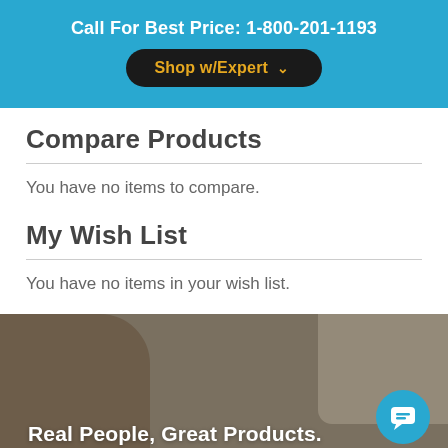Call For Best Price: 1-800-201-1193
Compare Products
You have no items to compare.
My Wish List
You have no items in your wish list.
[Figure (photo): Background image of a person giving a thumbs up with text overlay 'Real People, Great Products.' and a blue chat button in the bottom right corner.]